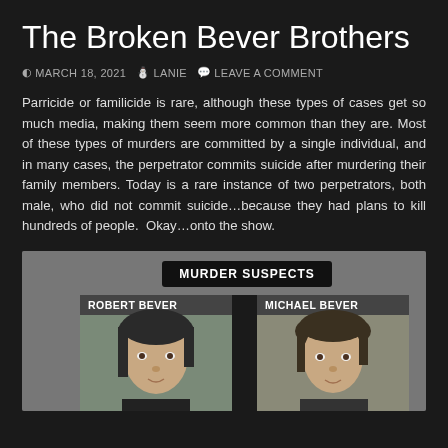The Broken Bever Brothers
MARCH 18, 2021  LANIE  LEAVE A COMMENT
Parricide or familicide is rare, although these types of cases get so much media, making them seem more common than they are. Most of these types of murders are committed by a single individual, and in many cases, the perpetrator commits suicide after murdering their family members. Today is a rare instance of two perpetrators, both male, who did not commit suicide…because they had plans to kill hundreds of people.  Okay…onto the show.
[Figure (photo): News graphic showing two mugshot photos labeled 'MURDER SUSPECTS'. Left photo labeled 'ROBERT BEVER', right photo labeled 'MICHAEL BEVER'. Both are young white males with dark hair.]